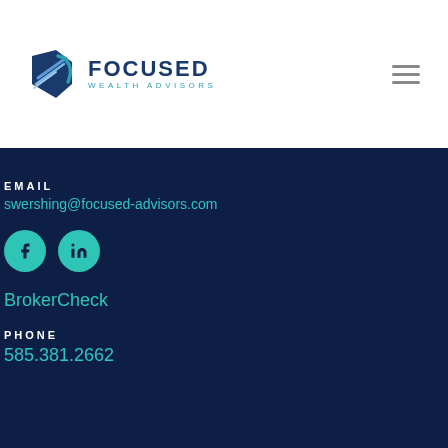[Figure (logo): Focused Wealth Advisors logo with navy blue arrow/shield graphic and teal subtitle text]
EMAIL
swershing@focused-advisors.com
[Figure (infographic): Facebook and LinkedIn social media icon buttons (teal circles with dark icons)]
BrokerCheck
PHONE
585.381.2662